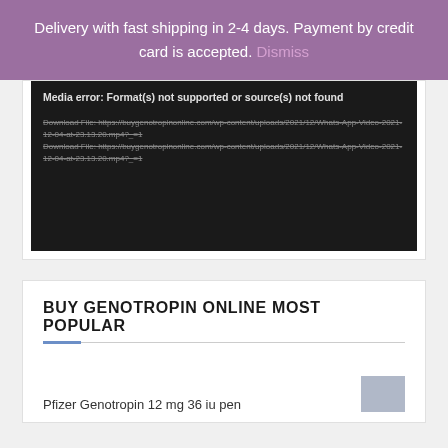Delivery with fast shipping in 2-4 days. Payment by credit card is accepted. Dismiss
[Figure (screenshot): Video player showing media error: Format(s) not supported or source(s) not found, with two download file links shown in dark background]
BUY GENOTROPIN ONLINE MOST POPULAR
Pfizer Genotropin 12 mg 36 iu pen